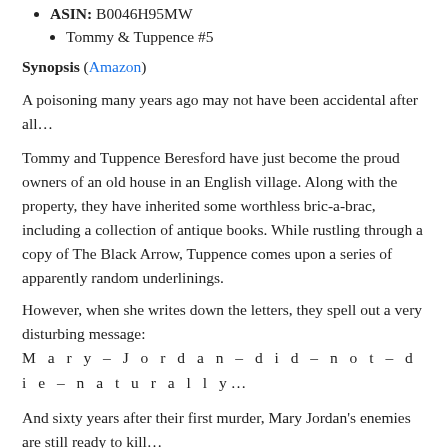ASIN: B0046H95MW
Tommy & Tuppence #5
Synopsis (Amazon)
A poisoning many years ago may not have been accidental after all…
Tommy and Tuppence Beresford have just become the proud owners of an old house in an English village. Along with the property, they have inherited some worthless bric-a-brac, including a collection of antique books. While rustling through a copy of The Black Arrow, Tuppence comes upon a series of apparently random underlinings.
However, when she writes down the letters, they spell out a very disturbing message:
M a r y – J o r d a n – d i d – n o t – d i e – n a t u r a l l y…
And sixty years after their first murder, Mary Jordan's enemies are still ready to kill…
My Take